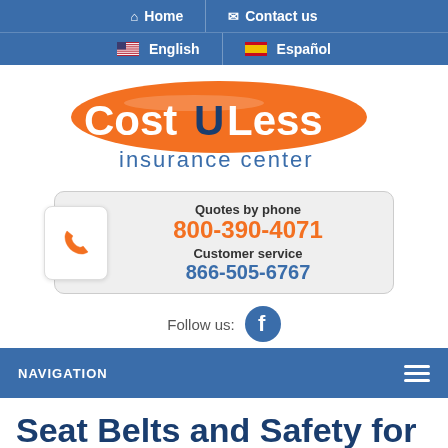Home | Contact us | English | Español
[Figure (logo): Cost U Less insurance center logo — orange oval with white text 'Cost U Less' and blue tagline 'insurance center']
Quotes by phone
800-390-4071
Customer service
866-505-6767
Follow us: [Facebook icon]
NAVIGATION
Seat Belts and Safety for